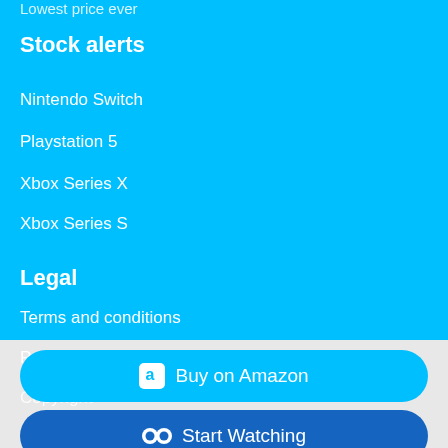Lowest price ever
Stock alerts
Nintendo Switch
Playstation 5
Xbox Series X
Xbox Series S
Legal
Terms and conditions
Privacy
Copyright
Buy on Amazon
Start Watching